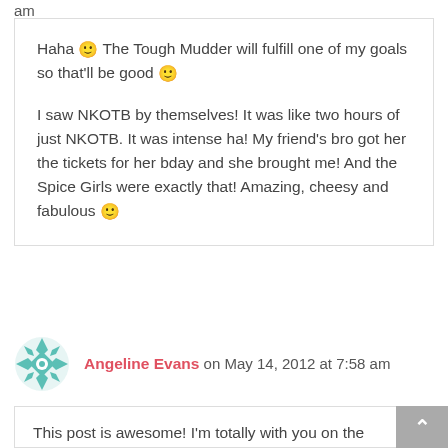am
Haha 🙂 The Tough Mudder will fulfill one of my goals so that'll be good 🙂

I saw NKOTB by themselves! It was like two hours of just NKOTB. It was intense ha! My friend's bro got her the tickets for her bday and she brought me! And the Spice Girls were exactly that! Amazing, cheesy and fabulous 🙂
[Figure (logo): Teal decorative avatar icon with geometric floral/snowflake pattern]
Angeline Evans on May 14, 2012 at 7:58 am
This post is awesome! I'm totally with you on the "bucket list" thing. It's not really useful if you can't do it in time and it's not really doable if you don't